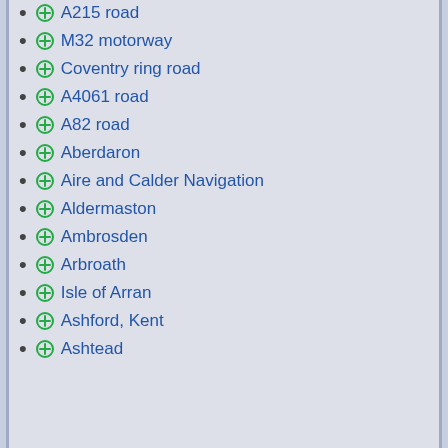A215 road
M32 motorway
Coventry ring road
A4061 road
A82 road
Aberdaron
Aire and Calder Navigation
Aldermaston
Ambrosden
Arbroath
Isle of Arran
Ashford, Kent
Ashtead